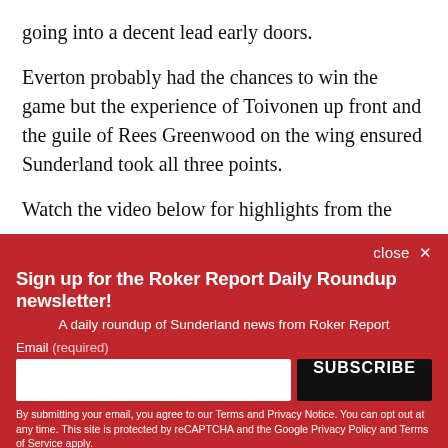going into a decent lead early doors.
Everton probably had the chances to win the game but the experience of Toivonen up front and the guile of Rees Greenwood on the wing ensured Sunderland took all three points.
Watch the video below for highlights from the game -
close ✕
Sign up for the Roker Report Daily Roundup newsletter!
A daily roundup of Sunderland news from Roker Report
Email (required)
SUBSCRIBE
By submitting your email, you agree to our Terms and Privacy Notice. You can opt out at any time. This site is protected by reCAPTCHA and the Google Privacy Policy and Terms of Service apply.